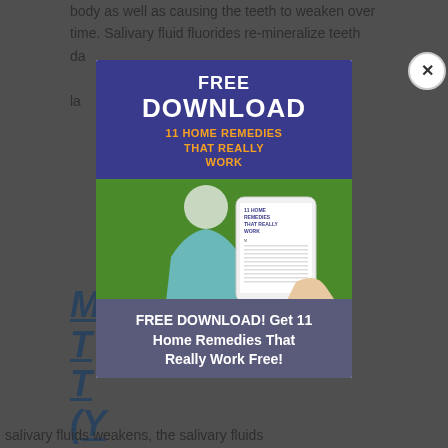body as well as causing the teeth to weaken over time. Salivary fluid fluorides re-mineralize teeth da... la...
In... de... gl... m... he... salivary fluids weakens, the salivary fluids
[Figure (screenshot): Modal popup advertisement for a free download of '11 Home Remedies That Really Work', showing a blue banner with title text in white and orange, and a phone mockup below on a green background held by a person.]
FREE DOWNLOAD! Get 11 Home Remedies That Really Work Free!